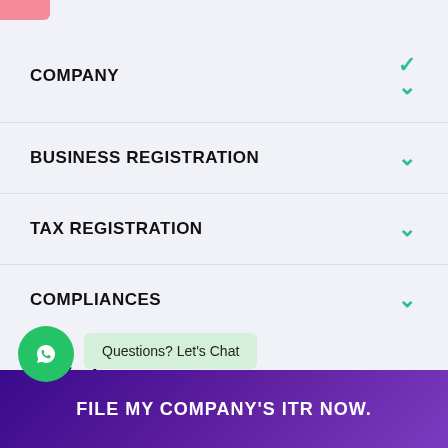COMPANY
BUSINESS REGISTRATION
TAX REGISTRATION
COMPLIANCES
Questions? Let's Chat
CONTACT
FILE MY COMPANY'S ITR NOW.